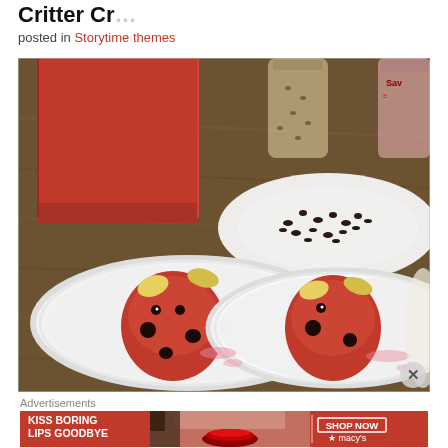Critter Cr…
posted in Storytime themes
[Figure (photo): Two strawberries decorated as ladybugs with chocolate chip spots and banana slice wings, placed on white paper plates on a wooden table. A plate of chocolate chips and a red bag are visible in the background.]
Advertisements
[Figure (photo): Macy's advertisement banner: 'KISS BORING LIPS GOODBYE' with a woman's face featuring red lips, and a 'SHOP NOW' button with Macy's star logo, all on a red background.]